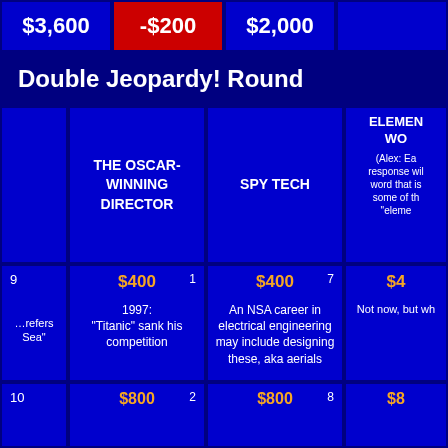| Score1 | Score2 | Score3 | Score4 |
| --- | --- | --- | --- |
| $3,600 | -$200 | $2,000 |  |
Double Jeopardy! Round
| # | THE OSCAR-WINNING DIRECTOR | SPY TECH | ELEMENTS WO... |
| --- | --- | --- | --- |
| 9 | $400 (1) | $400 (7) | $4... |
|  | 1997: "Titanic" sank his competition | An NSA career in electrical engineering may include designing these, aka aerials | Not now, but wh... |
| 10 | $800 (2) | $800 (8) | $8... |